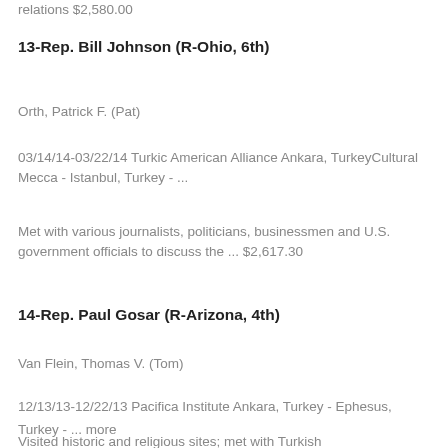relations $2,580.00
13-Rep. Bill Johnson (R-Ohio, 6th)
Orth, Patrick F. (Pat)
03/14/14-03/22/14 Turkic American Alliance Ankara, TurkeyCultural Mecca - Istanbul, Turkey - ...
Met with various journalists, politicians, businessmen and U.S. government officials to discuss the ... $2,617.30
14-Rep. Paul Gosar (R-Arizona, 4th)
Van Flein, Thomas V. (Tom)
12/13/13-12/22/13 Pacifica Institute Ankara, Turkey - Ephesus, Turkey - ... more
Visited historic and religious sites; met with Turkish